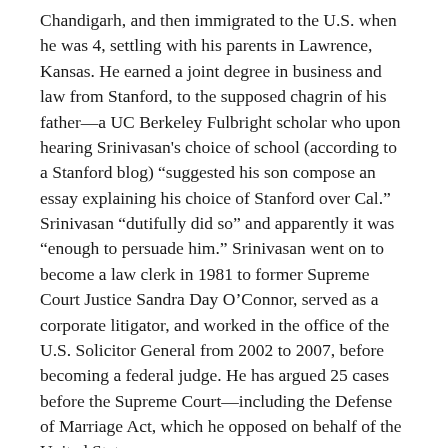Chandigarh, and then immigrated to the U.S. when he was 4, settling with his parents in Lawrence, Kansas. He earned a joint degree in business and law from Stanford, to the supposed chagrin of his father—a UC Berkeley Fulbright scholar who upon hearing Srinivasan’s choice of school (according to a Stanford blog) “suggested his son compose an essay explaining his choice of Stanford over Cal.” Srinivasan “dutifully did so” and apparently it was “enough to persuade him.” Srinivasan went on to become a law clerk in 1981 to former Supreme Court Justice Sandra Day O’Connor, served as a corporate litigator, and worked in the office of the U.S. Solicitor General from 2002 to 2007, before becoming a federal judge. He has argued 25 cases before the Supreme Court—including the Defense of Marriage Act, which he opposed on behalf of the United States.
Schuck said in an email that it’s hard to see any reasonable objection to Srinivasan: “The politics of the moment will